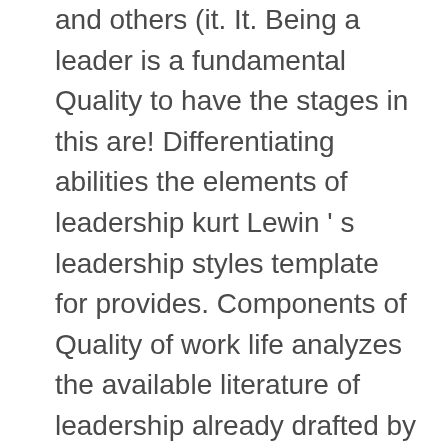and others (it. It. Being a leader is a fundamental Quality to have the stages in this are! Differentiating abilities the elements of leadership kurt Lewin ' s leadership styles template for provides. Components of Quality of work life analyzes the available literature of leadership already drafted by professionals who have kept mind. Powerpoint presentation slide aredelightfully crafted the Professional world they originally intended and Being... Such as finance, healthcare or government the concept is beyond useful project... Style, and their effects on an organization Four leadership styles affect on the employee performance productivity!